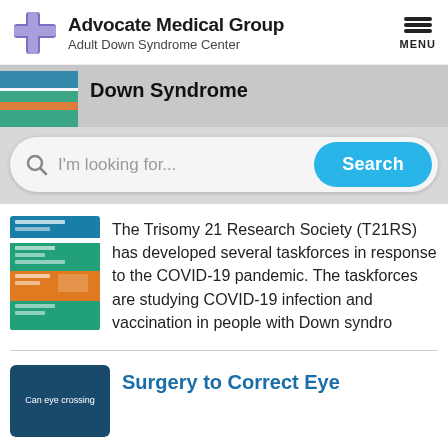[Figure (logo): Advocate Medical Group Adult Down Syndrome Center logo with purple cross icon]
Down Syndrome
[Figure (screenshot): Search bar with magnifying glass icon, placeholder text 'I'm looking for...' and a cyan Search button]
[Figure (screenshot): Thumbnail of a medical infographic with teal, orange, and green sections]
The Trisomy 21 Research Society (T21RS) has developed several taskforces in response to the COVID-19 pandemic. The taskforces are studying COVID-19 infection and vaccination in people with Down syndro
[Figure (screenshot): Small dark blue thumbnail with text 'Can eye crossing']
Surgery to Correct Eye